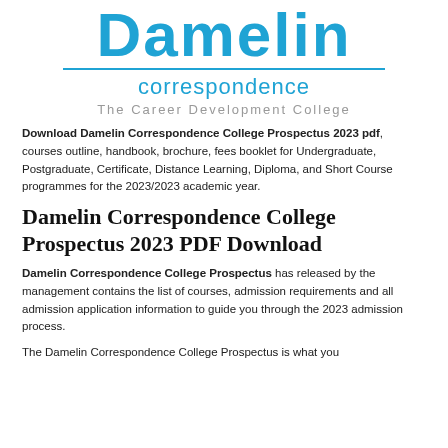[Figure (logo): Damelin correspondence college logo with blue text and tagline 'The Career Development College']
Download Damelin Correspondence College Prospectus 2023 pdf, courses outline, handbook, brochure, fees booklet for Undergraduate, Postgraduate, Certificate, Distance Learning, Diploma, and Short Course programmes for the 2023/2023 academic year.
Damelin Correspondence College Prospectus 2023 PDF Download
Damelin Correspondence College Prospectus has released by the management contains the list of courses, admission requirements and all admission application information to guide you through the 2023 admission process.
The Damelin Correspondence College Prospectus is what you